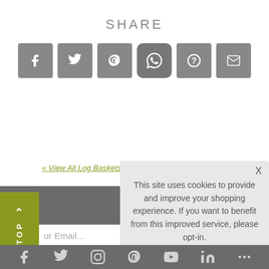SHARE
[Figure (other): Row of 6 social media share icon buttons: Facebook, Twitter, Pinterest, WhatsApp, Question mark, Email]
« View All Log Baskets
[Figure (screenshot): Cookie consent overlay with text: This site uses cookies to provide and improve your shopping experience. If you want to benefit from this improved service, please opt-in. For more information, please see our Cookies Page. Cookies Page. I opt-in to a better browsing experience. ACCEPT COOKIES button.]
ur Email...
To see how